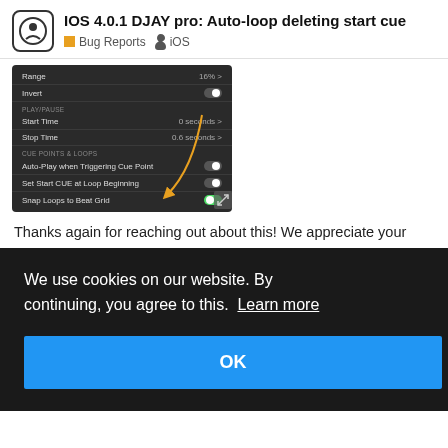IOS 4.0.1 DJAY pro: Auto-loop deleting start cue
Bug Reports  iOS
[Figure (screenshot): iOS settings panel screenshot showing CUE POINTS & LOOPS section with Auto-Play when Triggering Cue Point toggle, Set Start CUE at Loop Beginning toggle (with orange arrow pointing to it), and Snap Loops to Beat Grid toggle (green/on). An orange arrow points from upper right down to the Set Start CUE at Loop Beginning row.]
Thanks again for reaching out about this! We appreciate your
We use cookies on our website. By continuing, you agree to this.  Learn more
OK